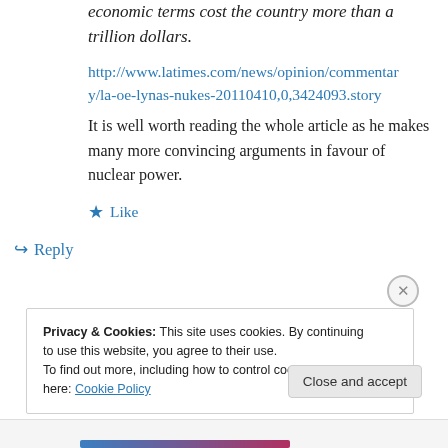economic terms cost the country more than a trillion dollars.
http://www.latimes.com/news/opinion/commentary/la-oe-lynas-nukes-20110410,0,3424093.story
It is well worth reading the whole article as he makes many more convincing arguments in favour of nuclear power.
Like
Reply
Privacy & Cookies: This site uses cookies. By continuing to use this website, you agree to their use.
To find out more, including how to control cookies, see here: Cookie Policy
Close and accept